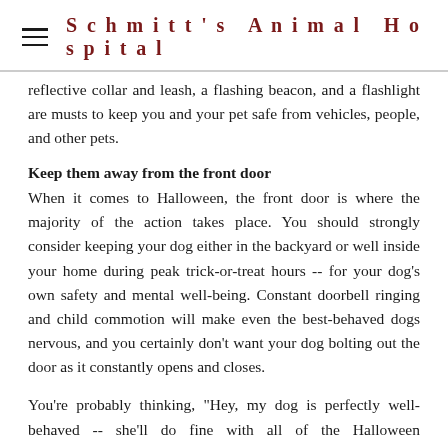Schmitt's Animal Hospital
reflective collar and leash, a flashing beacon, and a flashlight are musts to keep you and your pet safe from vehicles, people, and other pets.
Keep them away from the front door
When it comes to Halloween, the front door is where the majority of the action takes place. You should strongly consider keeping your dog either in the backyard or well inside your home during peak trick-or-treat hours -- for your dog's own safety and mental well-being. Constant doorbell ringing and child commotion will make even the best-behaved dogs nervous, and you certainly don't want your dog bolting out the door as it constantly opens and closes.
You're probably thinking, "Hey, my dog is perfectly well-behaved -- she'll do fine with all of the Halloween commotion." You may be right. But keeping her away from the action isn't